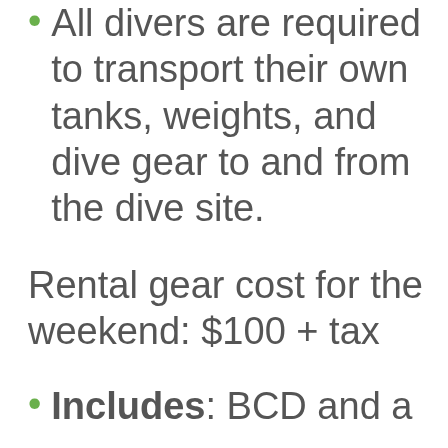All divers are required to transport their own tanks, weights, and dive gear to and from the dive site.
Rental gear cost for the weekend: $100 + tax
Includes: BCD and a